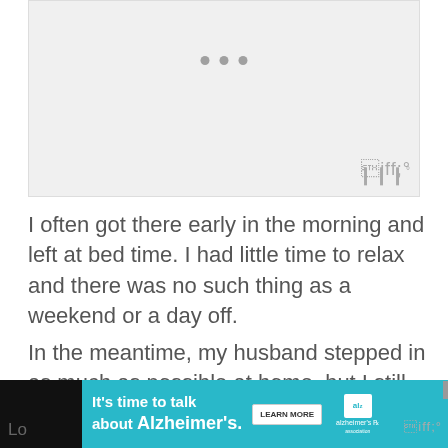[Figure (other): Gray placeholder image area with three dots indicating a carousel/slideshow and a logo watermark in bottom right]
I often got there early in the morning and left at bed time. I had little time to relax and there was no such thing as a weekend or a day off.
In the meantime, my husband stepped in as much as possible at home, but I still had duties there that he couldn't help with. Which meant I had other “jobs” to do after I got home.
[Figure (other): Advertisement banner: It's time to talk about Alzheimer's. with Learn More button and Alzheimer's Association logo on teal background]